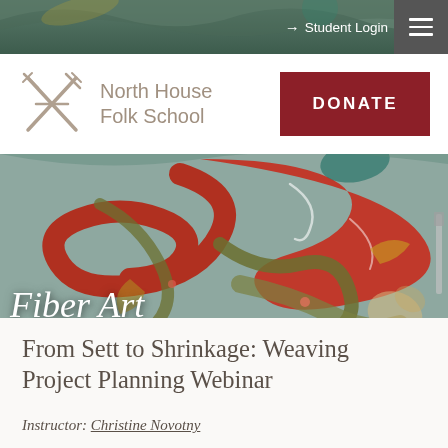Student Login
[Figure (logo): North House Folk School logo with crossed needles icon and text]
DONATE
[Figure (photo): Decorative rosemaling folk art painting with red, green, gold and teal swirling floral motifs on a grey-blue background]
Fiber Art
From Sett to Shrinkage: Weaving Project Planning Webinar
Instructor: Christine Novotny